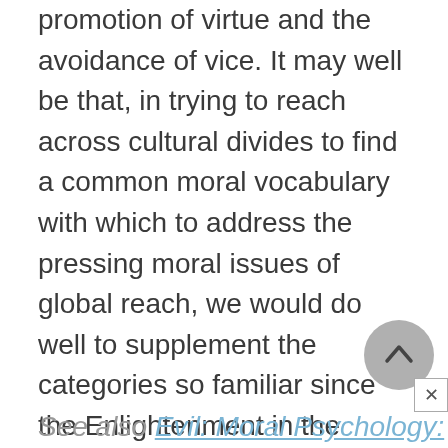promotion of virtue and the avoidance of vice. It may well be that, in trying to reach across cultural divides to find a common moral vocabulary with which to address the pressing moral issues of global reach, we would do well to supplement the categories so familiar since the Enlightenment in the West (e.g., duty, utility, costs versus benefits) with the highly nuanced and richly textured vocabulary of virtue and vice.
See also Evil: Moral Psychology: